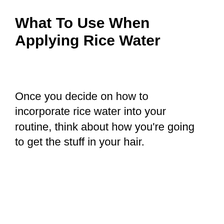What To Use When Applying Rice Water
Once you decide on how to incorporate rice water into your routine, think about how you're going to get the stuff in your hair.